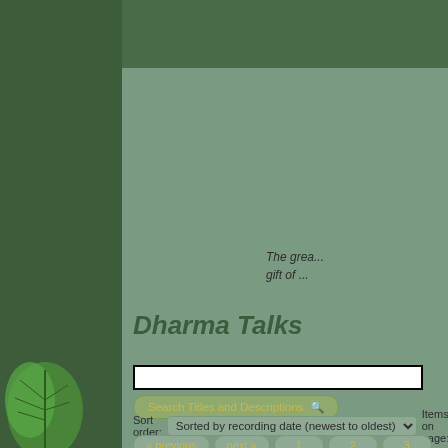Dharma Talks
The greatest gift of
Search Titles and Descriptions
Sort order: Sorted by recording date (newest to oldest)  Items on page:
« previous  next »  1  2  3  4  ...  12  13  14  15
3682  3683  3684